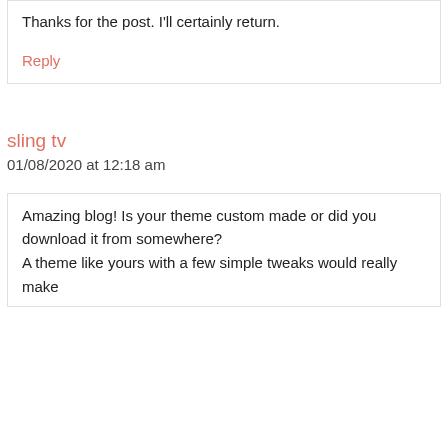Thanks for the post. I'll certainly return.
Reply
sling tv
01/08/2020 at 12:18 am
Amazing blog! Is your theme custom made or did you download it from somewhere? A theme like yours with a few simple tweaks would really make